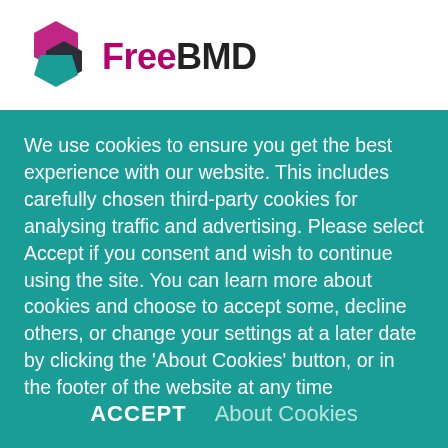[Figure (logo): FreeBMD logo with hexagonal gem shapes in pink/dark gray/teal and text 'Free' in pink bold and 'BMD' in dark bold]
We use cookies to ensure you get the best experience with our website. This includes carefully chosen third-party cookies for analysing traffic and advertising. Please select Accept if you consent and wish to continue using the site. You can learn more about cookies and choose to accept some, decline others, or change your settings at a later date by clicking the 'About Cookies' button, or in the footer of the website at any time
ACCEPT   About Cookies